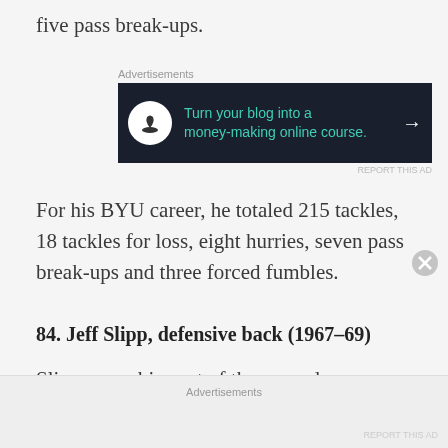five pass break-ups.
[Figure (other): Advertisement banner: dark background with bonsai tree icon and text 'Turn your blog into a money-making online course.' with arrow]
For his BYU career, he totaled 215 tackles, 18 tackles for loss, eight hurries, seven pass break-ups and three forced fumbles.
84. Jeff Slipp, defensive back (1967–69)
Slipp was a big part of the secondary during his three years on the field in Provo. His one of
Advertisements